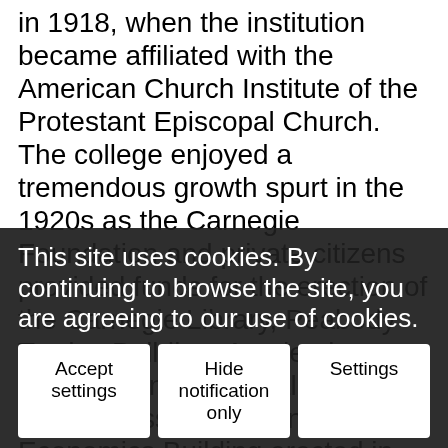in 1918, when the institution became affiliated with the American Church Institute of the Protestant Episcopal Church. The college enjoyed a tremendous growth spurt in the 1920s as the Carnegie Foundation and private citizens provided funds for the erection of the Carnegie Library, Peabody Trades Building, Academic Building, and Ohio Hall. Despite the Depression, Patton Home Economics Building erected in 1937 along with a few more buildings in the 1940s, such as Davison Hall. In 1949 it was designated a land-grant for Negroes by the Georgia Legislature.
This site uses cookies. By continuing to browse the site, you are agreeing to our use of cookies.
a sport... when O... s... for the women's 50 yard dash and